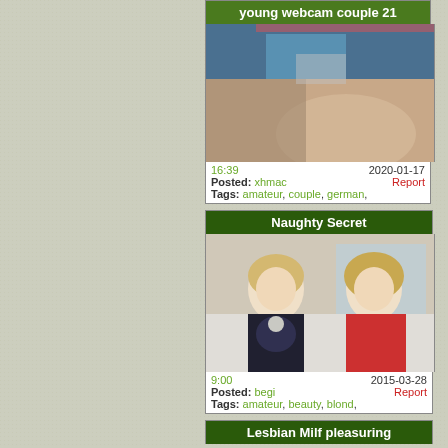young webcam couple 21
[Figure (photo): Thumbnail of young webcam couple video]
16:39   2020-01-17
Posted: xhmac   Report
Tags: amateur, couple, german,
Naughty Secret
[Figure (photo): Thumbnail of Naughty Secret video showing two blonde women]
9:00   2015-03-28
Posted: begi   Report
Tags: amateur, beauty, blond,
Lesbian Milf pleasuring